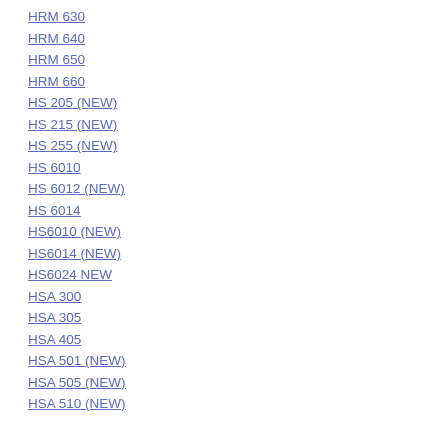HRM 630
HRM 640
HRM 650
HRM 660
HS 205 (NEW)
HS 215 (NEW)
HS 255 (NEW)
HS 6010
HS 6012 (NEW)
HS 6014
HS6010 (NEW)
HS6014 (NEW)
HS6024 NEW
HSA 300
HSA 305
HSA 405
HSA 501 (NEW)
HSA 505 (NEW)
HSA 510 (NEW)